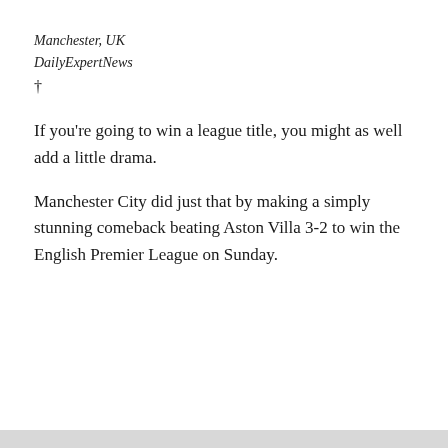Manchester, UK
DailyExpertNews
†
If you’re going to win a league title, you might as well add a little drama.
Manchester City did just that by making a simply stunning comeback beating Aston Villa 3-2 to win the English Premier League on Sunday.